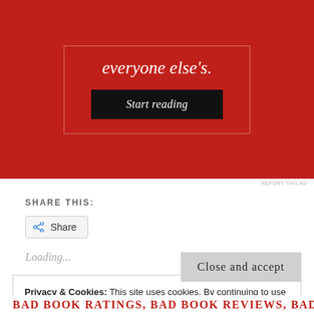[Figure (other): Red advertisement banner with italic white text 'everyone else's.' and a black 'Start reading' button, with an inner white border]
REPORT THIS AD
SHARE THIS:
Share (button with share icon)
Loading...
Privacy & Cookies: This site uses cookies. By continuing to use this website, you agree to their use.
To find out more, including how to control cookies, see here:
Cookie Policy
Close and accept
BAD BOOK RATINGS, BAD BOOK REVIEWS, BAD